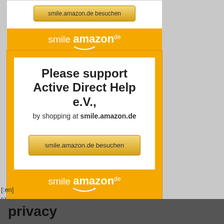[Figure (screenshot): Top portion of Amazon Smile card showing a button labeled 'smile.amazon.de besuchen' and an orange bar with the smile.amazon.de logo]
[Figure (screenshot): Full Amazon Smile promotional card with white background showing 'Please support Active Direct Help e.V., by shopping at smile.amazon.de', a gold button 'smile.amazon.de besuchen', and an orange footer bar with smile.amazon.de logo]
[:en]
[:]
privacy